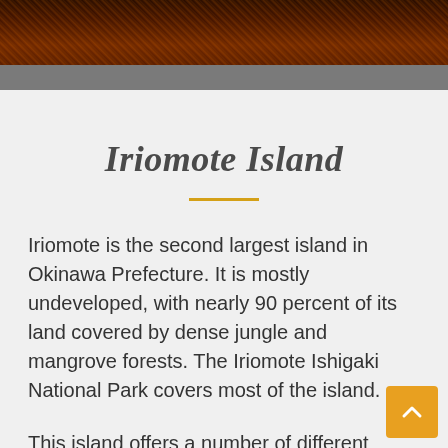[Figure (photo): Dark reddish-brown textured header image, possibly a close-up of bark or wood, with a gray band below]
Iriomote Island
Iriomote is the second largest island in Okinawa Prefecture. It is mostly undeveloped, with nearly 90 percent of its land covered by dense jungle and mangrove forests. The Iriomote Ishigaki National Park covers most of the island.
This island offers a number of different activities including:
Kayaking in the mangroves